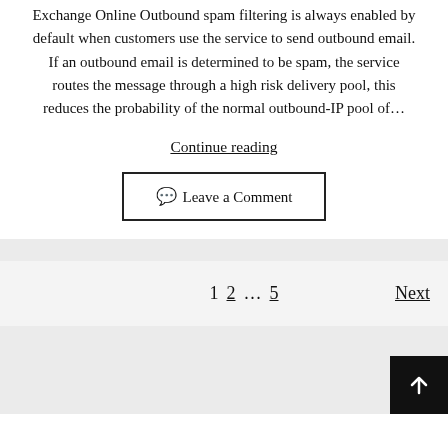Exchange Online Outbound spam filtering is always enabled by default when customers use the service to send outbound email. If an outbound email is determined to be spam, the service routes the message through a high risk delivery pool, this reduces the probability of the normal outbound-IP pool of...
Continue reading
💬 Leave a Comment
1  2  ...  5    Next